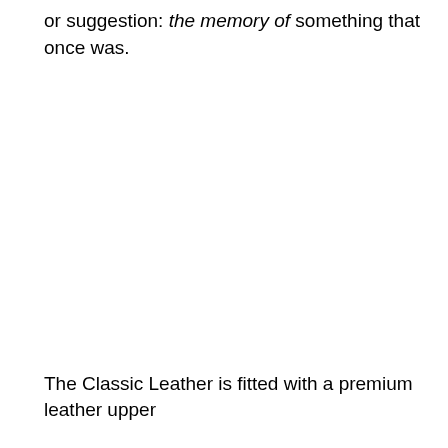or suggestion: the memory of something that once was.
The Classic Leather is fitted with a premium leather upper